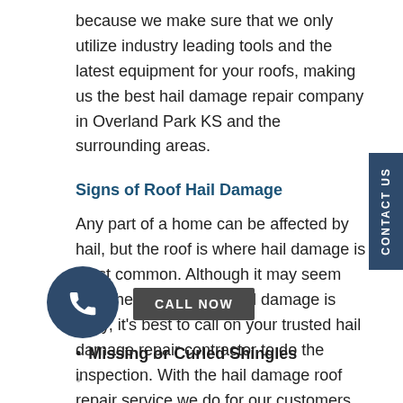because we make sure that we only utilize industry leading tools and the latest equipment for your roofs, making us the best hail damage repair company in Overland Park KS and the surrounding areas.
Signs of Roof Hail Damage
Any part of a home can be affected by hail, but the roof is where hail damage is most common. Although it may seem that checking for roof hail damage is easy, it's best to call on your trusted hail damage repair contractor to do the inspection. With the hail damage roof repair service we do for our customers in Overland Park KS, these are just some of the signs for when you'll need the best hail damage repair:
Missing or Curled Shingles